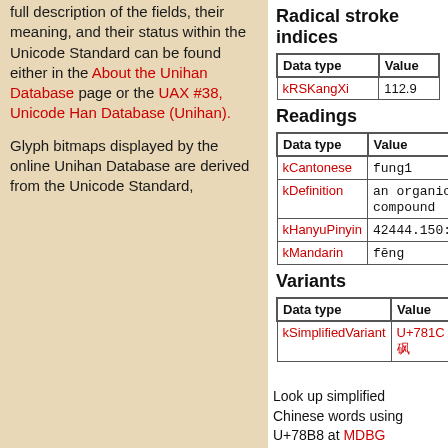full description of the fields, their meaning, and their status within the Unicode Standard can be found either in the About the Unihan Database page or the UAX #38, Unicode Han Database (Unihan).
Glyph bitmaps displayed by the online Unihan Database are derived from the Unicode Standard,
Radical stroke indices
| Data type | Value |
| --- | --- |
| kRSKangXi | 112.9 |
Readings
| Data type | Value |
| --- | --- |
| kCantonese | fung1 |
| kDefinition | an organic compound |
| kHanyuPinyin | 42444.150:fēng |
| kMandarin | fēng |
Variants
| Data type | Value |
| --- | --- |
| kSimplifiedVariant | U+781C 囜 |
Look up simplified Chinese words using U+78B8 at MDBG